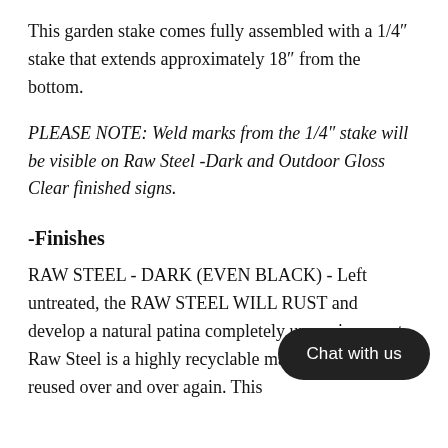This garden stake comes fully assembled with a 1/4″ stake that extends approximately 18″ from the bottom.
PLEASE NOTE: Weld marks from the 1/4″ stake will be visible on Raw Steel -Dark and Outdoor Gloss Clear finished signs.
-Finishes
RAW STEEL - DARK (EVEN BLACK) - Left untreated, the RAW STEEL WILL RUST and develop a natural patina completely un environment. Raw Steel is a highly recyclable material that gets reused over and over again. This